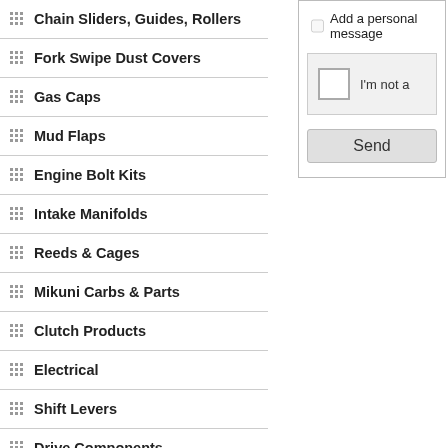Chain Sliders, Guides, Rollers
Fork Swipe Dust Covers
Gas Caps
Mud Flaps
Engine Bolt Kits
Intake Manifolds
Reeds & Cages
Mikuni Carbs & Parts
Clutch Products
Electrical
Shift Levers
Drive Components
[Figure (screenshot): Partial UI showing: checkbox 'Add a personal message', CAPTCHA box with checkbox and text 'I'm not a', and a 'Send' button]